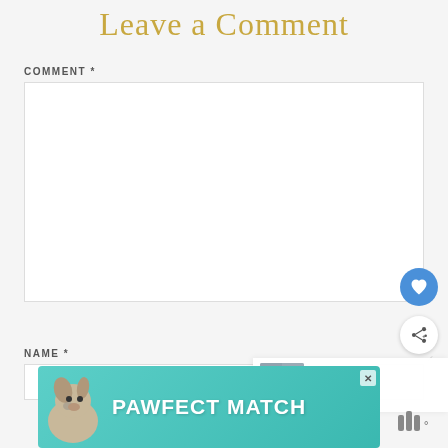Leave a Comment
COMMENT *
[Figure (screenshot): Empty comment text area input box]
[Figure (infographic): Blue circular like/heart button floating on the right side]
[Figure (infographic): White circular share button floating on the right side]
NAME *
[Figure (screenshot): Name input field]
[Figure (infographic): What's Next panel showing Travel Guide: Venice, Italy with thumbnail]
[Figure (screenshot): Advertisement banner: PAWFECT MATCH on teal background with dog image]